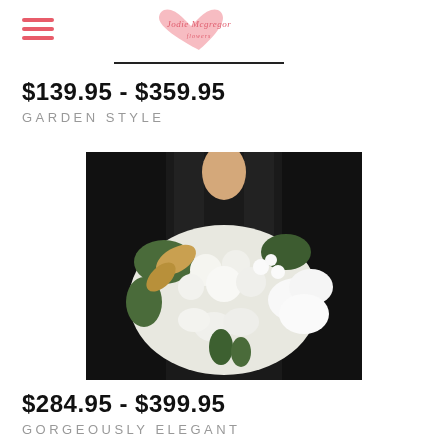Jodie Mcgregor Flowers logo with hamburger menu
$139.95 - $359.95
GARDEN STYLE
[Figure (photo): Person in black dress holding a large white floral bouquet including white roses, orchids, lilies and green foliage against a dark background]
$284.95 - $399.95
GORGEOUSLY ELEGANT